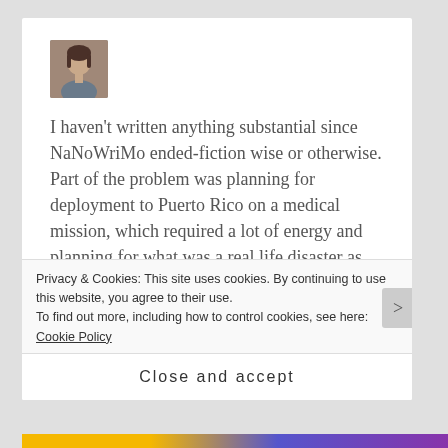[Figure (photo): Small profile photo of a person with short dark hair, appearing as an avatar/author photo in the top-left of the blog post card.]
I haven't written anything substantial since NaNoWriMo ended-fiction wise or otherwise. Part of the problem was planning for deployment to Puerto Rico on a medical mission, which required a lot of energy and planning for what was a real life disaster as opposed to plotting a fictional one. It was a little spooky that Hurricane Maria was a “high end” Category 4 storm, like Hurricane Edward in Storm Watch. But while I do believe in synchrony, the novel was written over a
Privacy & Cookies: This site uses cookies. By continuing to use this website, you agree to their use.
To find out more, including how to control cookies, see here: Cookie Policy
Close and accept